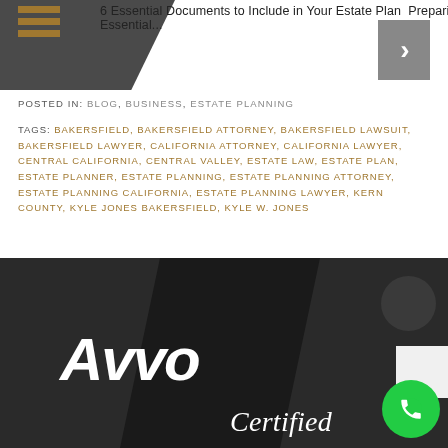6 Essential Documents to Include in Your Estate Plan  Preparing for the Essential...
POSTED IN: BLOG, BUSINESS, ESTATE PLANNING
TAGS: BAKERSFIELD, BAKERSFIELD ATTORNEY, BAKERSFIELD LAWSUIT, BAKERSFIELD LAWYER, CALIFORNIA ATTORNEY, CALIFORNIA LAWYER, CENTRAL CALIFORNIA, CENTRAL VALLEY, ESTATE LAW, ESTATE PLAN, ESTATE PLANNER, ESTATE PLANNING, ESTATE PLANNING ATTORNEY, ESTATE PLANNING CALIFORNIA, ESTATE PLANNING LAWYER, KERN COUNTY, KYLE JONES BAKERSFIELD, KYLE W. JONES
[Figure (logo): Avvo Certified logo on dark background with diagonal design elements, green phone button, and circular badge]